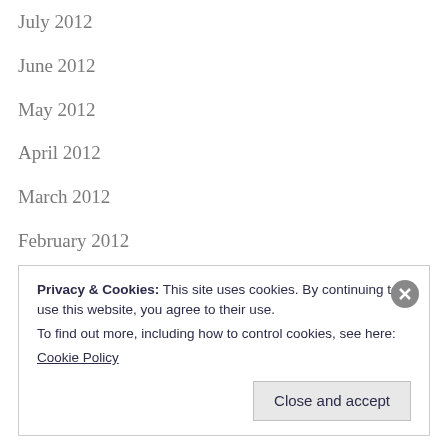July 2012
June 2012
May 2012
April 2012
March 2012
February 2012
November 2011
October 2011
August 2011
Privacy & Cookies: This site uses cookies. By continuing to use this website, you agree to their use.
To find out more, including how to control cookies, see here:
Cookie Policy
Close and accept